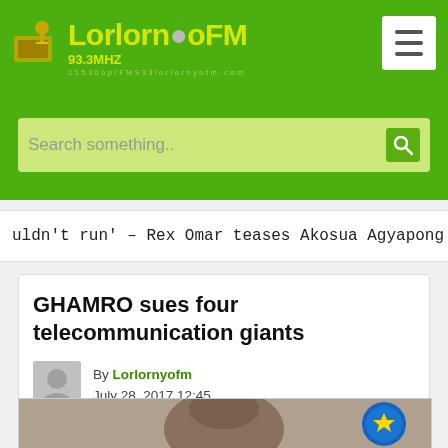LorlornyoFM 93.3MHZ
Search something..
uldn't run' – Rex Omar teases Akosua Agyapong over fraud cla
GHAMRO sues four telecommunication giants
By Lorlornyofm July 28, 2017 12:45
[Figure (photo): Photo of a man speaking, with a Ghanaian flag emblem visible in the background]